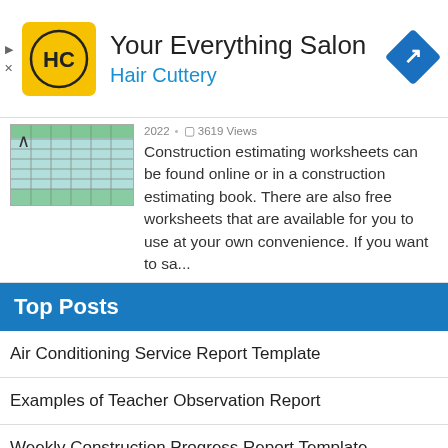[Figure (logo): Hair Cuttery ad banner with HC logo, title 'Your Everything Salon', subtitle 'Hair Cuttery', and a blue direction sign icon on the right]
2022 · 3619 Views
Construction estimating worksheets can be found online or in a construction estimating book. There are also free worksheets that are available for you to use at your own convenience. If you want to sa...
Top Posts
Air Conditioning Service Report Template
Examples of Teacher Observation Report
Weekly Construction Progress Report Template
Sample of Excel Spreadsheet With Data
Example of Parents Comments On Report Card